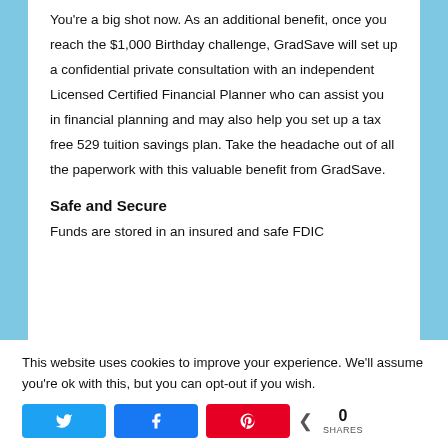You're a big shot now. As an additional benefit, once you reach the $1,000 Birthday challenge, GradSave will set up a confidential private consultation with an independent Licensed Certified Financial Planner who can assist you in financial planning and may also help you set up a tax free 529 tuition savings plan. Take the headache out of all the paperwork with this valuable benefit from GradSave.
Safe and Secure
Funds are stored in an insured and safe FDIC
This website uses cookies to improve your experience. We'll assume you're ok with this, but you can opt-out if you wish.